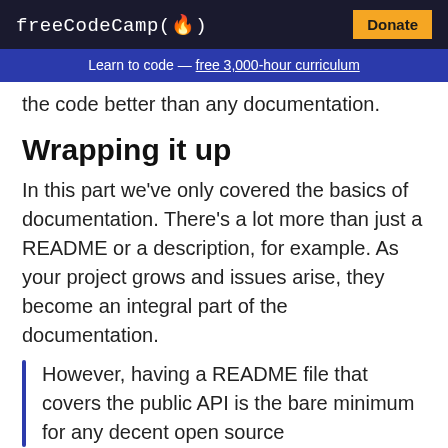freeCodeCamp(🔥)  Donate
Learn to code — free 3,000-hour curriculum
the code better than any documentation.
Wrapping it up
In this part we've only covered the basics of documentation. There's a lot more than just a README or a description, for example. As your project grows and issues arise, they become an integral part of the documentation.
However, having a README file that covers the public API is the bare minimum for any decent open source